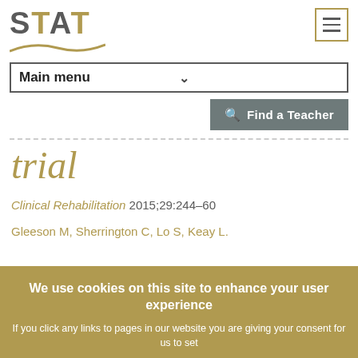[Figure (logo): STAT logo with gold and grey lettering and gold swoosh underline]
Main menu
Find a Teacher
trial
Clinical Rehabilitation 2015;29:244–60
Gleeson M, Sherrington C, Lo S, Keay L.
We use cookies on this site to enhance your user experience
If you click any links to pages in our website you are giving your consent for us to set